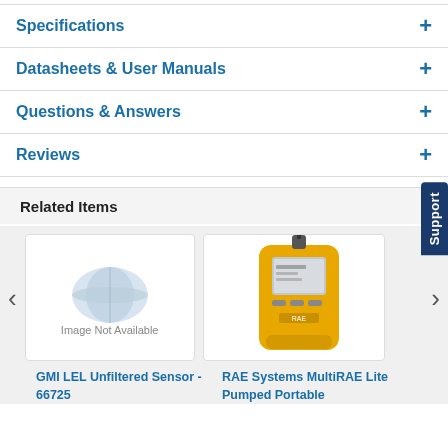Specifications
Datasheets & User Manuals
Questions & Answers
Reviews
Related Items
[Figure (photo): Image Not Available placeholder with globe/disk icon]
[Figure (photo): Photo of RAE Systems MultiRAE Lite Pumped Portable gas monitor in yellow casing]
GMI LEL Unfiltered Sensor - 66725
RAE Systems MultiRAE Lite Pumped Portable